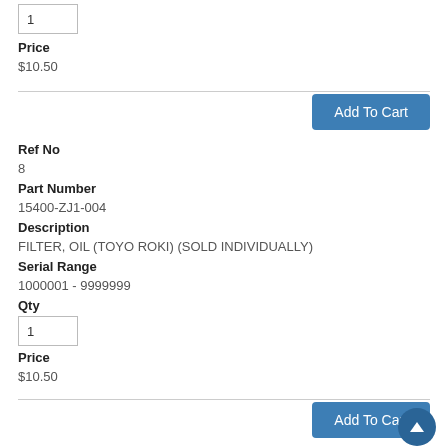1 (qty input top)
Price
$10.50
Add To Cart
Ref No
8
Part Number
15400-ZJ1-004
Description
FILTER, OIL (TOYO ROKI) (SOLD INDIVIDUALLY)
Serial Range
1000001 - 9999999
Qty
1 (qty input bottom)
Price
$10.50
Add To Cart
Ref No